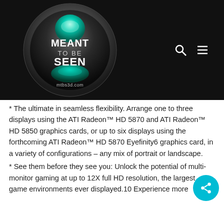[Figure (logo): Meant To Be Seen logo - circular metallic badge with teal gem, white text 'MEANT TO BE SEEN' and 'mtbs3d.com' at the bottom]
* The ultimate in seamless flexibility. Arrange one to three displays using the ATI Radeon™ HD 5870 and ATI Radeon™ HD 5850 graphics cards, or up to six displays using the forthcoming ATI Radeon™ HD 5870 Eyefinity6 graphics card, in a variety of configurations – any mix of portrait or landscape.
* See them before they see you: Unlock the potential of multi-monitor gaming at up to 12X full HD resolution, the largest game environments ever displayed.10 Experience more